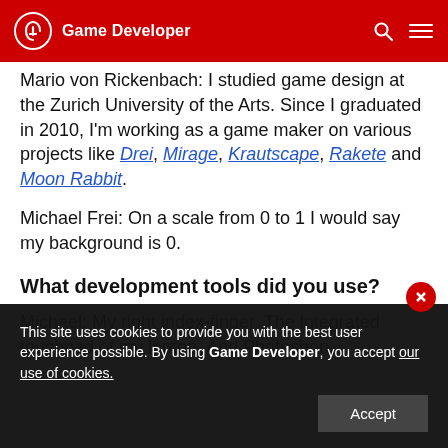Game Developer
Mario von Rickenbach: I studied game design at the Zurich University of the Arts. Since I graduated in 2010, I'm working as a game maker on various projects like Drei, Mirage, Krautscape, Rakete and Moon Rabbit.
Michael Frei: On a scale from 0 to 1 I would say my background is 0.
What development tools did you use?
Michael: My right index-finger. The integrated touchpad of my laptop. And Photoshop.
This site uses cookies to provide you with the best user experience possible. By using Game Developer, you accept our use of cookies.